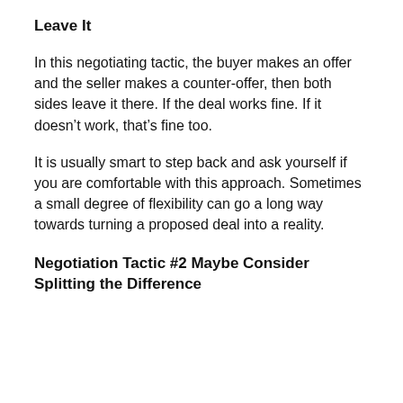Leave It
In this negotiating tactic, the buyer makes an offer and the seller makes a counter-offer, then both sides leave it there. If the deal works fine. If it doesn’t work, that’s fine too.
It is usually smart to step back and ask yourself if you are comfortable with this approach. Sometimes a small degree of flexibility can go a long way towards turning a proposed deal into a reality.
Negotiation Tactic #2 Maybe Consider Splitting the Difference